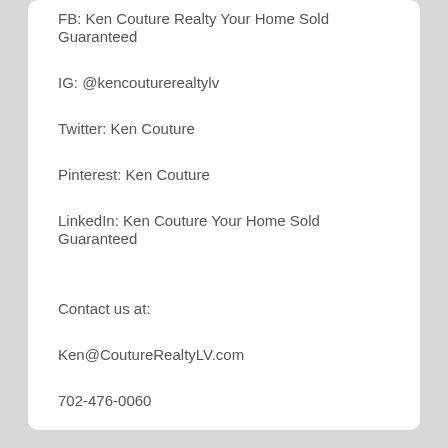FB: Ken Couture Realty Your Home Sold Guaranteed
IG: @kencouturerealtylv
Twitter: Ken Couture
Pinterest: Ken Couture
LinkedIn: Ken Couture Your Home Sold Guaranteed
Contact us at:
Ken@CoutureRealtyLV.com
702-476-0060